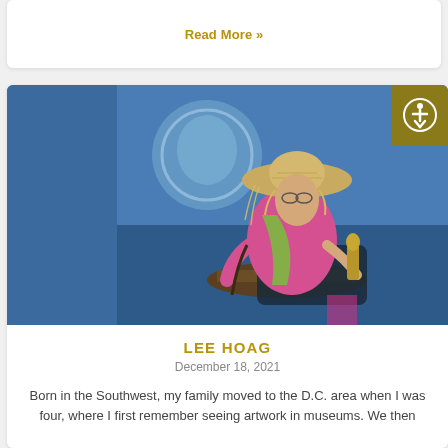Read More »
[Figure (photo): A figurative sculpture or mannequin wearing a straw hat, pink top, and green scarf, seated at a small table against a blue wall with a circular artwork in the background. The scene appears colorful and artistic.]
LEE HOAG
December 18, 2021
Born in the Southwest, my family moved to the D.C. area when I was four, where I first remember seeing artwork in museums. We then